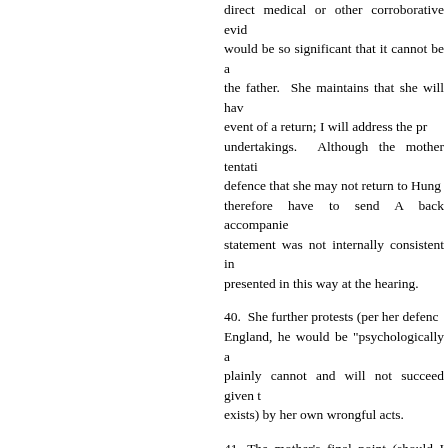direct medical or other corroborative evidence would be so significant that it cannot be addressed by the father. She maintains that she will have to return in the event of a return; I will address the proposed undertakings. Although the mother tentatively raised a defence that she may not return to Hungary and would therefore have to send A back accompanied; that statement was not internally consistent in all respects as presented in this way at the hearing.
40. She further protests (per her defence) that in England, he would be "psychologically absent" - plainly cannot and will not succeed given the situation (if it exists) by her own wrongful acts.
41. The mother's final point (should I reach the issue of discretion) that she has no meaningful connections (if the father proposes that A is returned) and no money, ignores she has family in Hungary (including her father) and lived there all of her life until two years ago.
42. While accepting, as he has to, the serious incident of 2018, the father maintains that he acted with genuine remorse for what happened. I have inspected the "restraining order". Later he says: "I made a mistake … [the mother] taunted me in my vulnerability. I have regretted from my heart and from the very beginning… of the criminal court... I deeply regret what